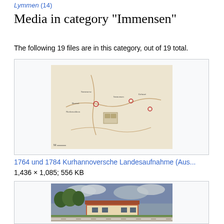Lymmen (14)
Media in category "Immensen"
The following 19 files are in this category, out of 19 total.
[Figure (map): Historical map thumbnail - 1764 und 1784 Kurhannoversche Landesaufnahme]
1764 und 1784 Kurhannoversche Landesaufnahme (Aus...
1,436 × 1,085; 556 KB
[Figure (photo): Photo of a building with red roof along a road, cloudy sky]